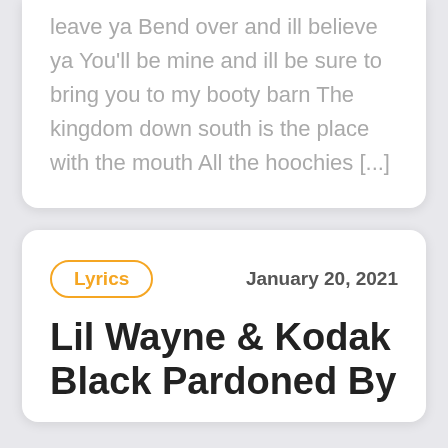leave ya Bend over and ill believe ya You'll be mine and ill be sure to bring you to my booty barn The kingdom down south is the place with the mouth All the hoochies [...]
Lyrics
January 20, 2021
Lil Wayne & Kodak Black Pardoned By